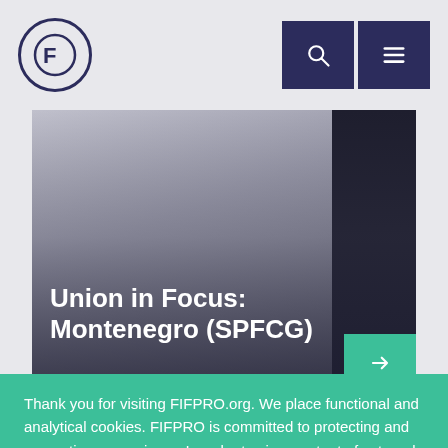[Figure (logo): FIFPRO logo — stylized F in a circle, dark navy color]
[Figure (other): Search icon button (dark navy background, white magnifier) and hamburger menu icon button (dark navy background, white three-line menu)]
[Figure (photo): Hero image showing a blurred indoor scene with a dark-suited figure on the right side, overlaid with the title 'Union in Focus: Montenegro (SPFCG)' and a teal arrow button at bottom-right]
Union in Focus: Montenegro (SPFCG)
Thank you for visiting FIFPRO.org. We place functional and analytical cookies. FIFPRO is committed to protecting and respecting your privacy. In order to view content of external third parties, please accept the cookies.
Accept   Decline